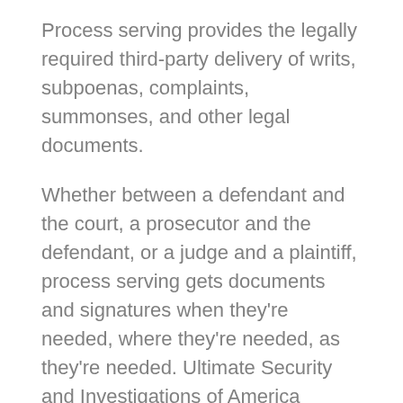Process serving provides the legally required third-party delivery of writs, subpoenas, complaints, summonses, and other legal documents.
Whether between a defendant and the court, a prosecutor and the defendant, or a judge and a plaintiff, process serving gets documents and signatures when they're needed, where they're needed, as they're needed. Ultimate Security and Investigations of America provides unparalleled process serving that assumes the highest standards of timely and accurate delivery and document processing. We know how valuable your time is. Call us today. Ultimate Security and Investigations of America will not disappoint you, and will help the legal process move according to schedule. Call Ultimate Security and